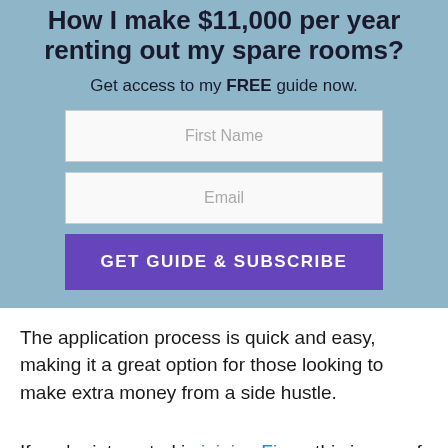[Figure (screenshot): A promotional banner with a steel-blue background containing a bold headline about making $11,000 per year renting out spare rooms, a subtitle offering a free guide, two form input fields (First Name, Email), and a purple 'GET GUIDE & SUBSCRIBE' button.]
The application process is quick and easy, making it a great option for those looking to make extra money from a side hustle.
If you're interested in joining Fiverr this is one of the most basic options available on